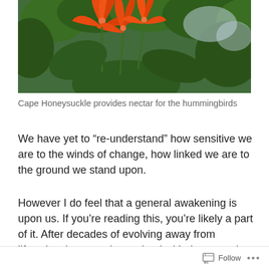[Figure (photo): Photo of Cape Honeysuckle plant with bright orange-red tubular flowers against dark green foliage and a light blue sky background]
Cape Honeysuckle provides nectar for the hummingbirds
We have yet to “re-understand” how sensitive we are to the winds of change, how linked we are to the ground we stand upon.
However I do feel that a general awakening is upon us. If you’re reading this, you’re likely a part of it. After decades of evolving away from lifestyles that were intertwined with the natural elements at our immediate disposal, some of the developed world seems to be realizing we went a bit
Follow ...